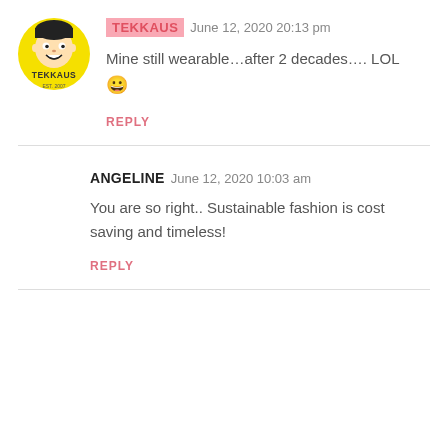[Figure (logo): TEKKAUS logo: yellow circle with cartoon face mascot and TEKKAUS text]
TEKKAUS June 12, 2020 20:13 pm
Mine still wearable…after 2 decades…. LOL 😀
REPLY
ANGELINE June 12, 2020 10:03 am
You are so right.. Sustainable fashion is cost saving and timeless!
REPLY